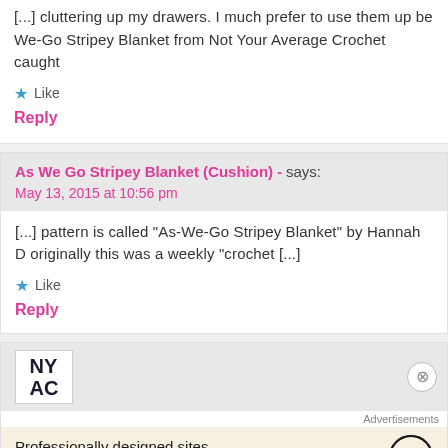[...] cluttering up my drawers. I much prefer to use them up be We-Go Stripey Blanket from Not Your Average Crochet caught
Like
Reply
As We Go Stripey Blanket (Cushion) - says:
May 13, 2015 at 10:56 pm
[...] pattern is called “As-We-Go Stripey Blanket” by Hannah D originally this was a weekly “crochet [...]
Like
Reply
Advertisements
Professionally designed sites in less than a week